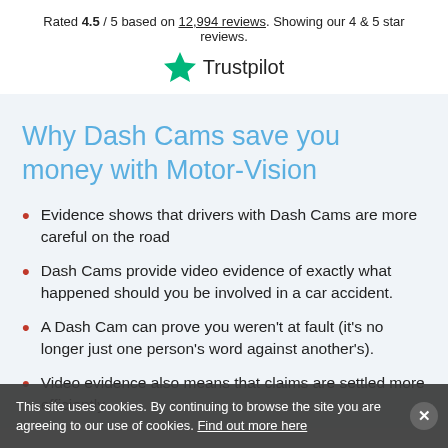Rated 4.5 / 5 based on 12,994 reviews. Showing our 4 & 5 star reviews.
[Figure (logo): Trustpilot logo with green star and 'Trustpilot' wordmark]
Why Dash Cams save you money with Motor-Vision
Evidence shows that drivers with Dash Cams are more careful on the road
Dash Cams provide video evidence of exactly what happened should you be involved in a car accident.
A Dash Cam can prove you weren't at fault (it's no longer just one person's word against another's).
Video evidence also means that claims are settled more efficiently.
This site uses cookies. By continuing to browse the site you are agreeing to our use of cookies. Find out more here